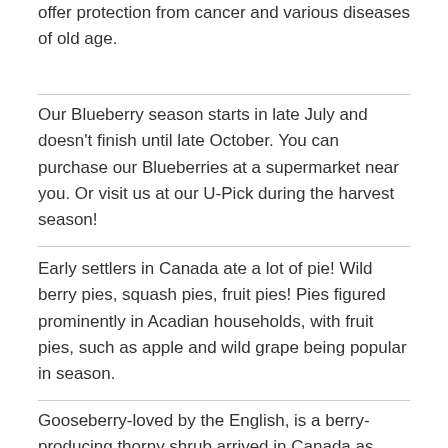offer protection from cancer and various diseases of old age.
Our Blueberry season starts in late July and doesn't finish until late October. You can purchase our Blueberries at a supermarket near you. Or visit us at our U-Pick during the harvest season!
Early settlers in Canada ate a lot of pie! Wild berry pies, squash pies, fruit pies! Pies figured prominently in Acadian households, with fruit pies, such as apple and wild grape being popular in season.
Gooseberry-loved by the English, is a berry-producing thorny shrub arrived in Canada as seeds in immigrants baggage and journeyed all the way to BC with the